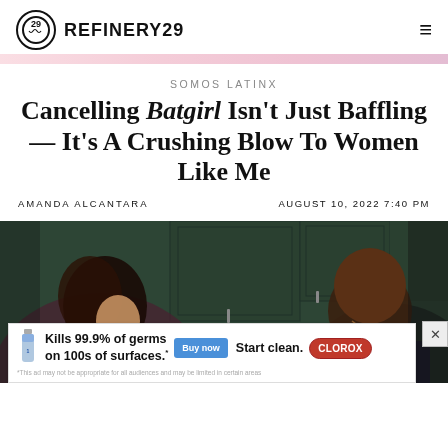REFINERY29
SOMOS LATINX
Cancelling Batgirl Isn't Just Baffling — It's A Crushing Blow To Women Like Me
AMANDA ALCANTARA    AUGUST 10, 2022 7:40 PM
[Figure (photo): Two people in a kitchen setting with dark green cabinets — a woman on the left and a bald man on the right, both smiling]
[Figure (infographic): Clorox advertisement banner: Kills 99.9% of germs on 100s of surfaces. Buy now. Start clean. Clorox logo.]